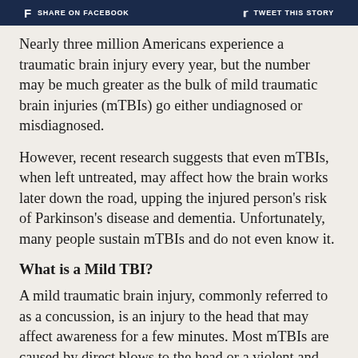SHARE ON FACEBOOK   TWEET THIS STORY
Nearly three million Americans experience a traumatic brain injury every year, but the number may be much greater as the bulk of mild traumatic brain injuries (mTBIs) go either undiagnosed or misdiagnosed.
However, recent research suggests that even mTBIs, when left untreated, may affect how the brain works later down the road, upping the injured person's risk of Parkinson's disease and dementia. Unfortunately, many people sustain mTBIs and do not even know it.
What is a Mild TBI?
A mild traumatic brain injury, commonly referred to as a concussion, is an injury to the head that may affect awareness for a few minutes. Most mTBIs are caused by direct blows to the head or a violent and sudden forward-backward motion known as whiplash.
Common scenarios that may lead to an mTBI include